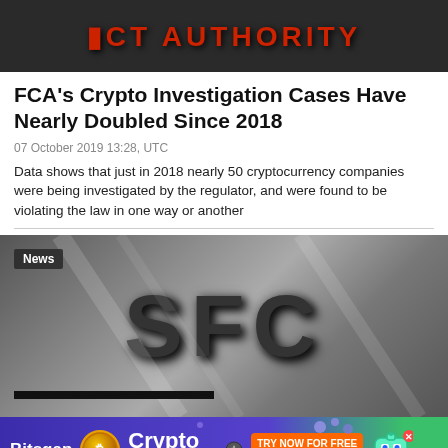[Figure (photo): Photo of a sign reading 'DIRECT AUTHORITY' in red letters on dark background]
FCA's Crypto Investigation Cases Have Nearly Doubled Since 2018
07 October 2019 13:28, UTC
Data shows that just in 2018 nearly 50 cryptocurrency companies were being investigated by the regulator, and were found to be violating the law in one way or another
[Figure (photo): Photo of SFC (Securities and Futures Commission) sign in large 3D letters on marble background with News badge overlay]
[Figure (other): Bitsgap Crypto Trading Bot advertisement banner with orange TRY NOW FOR FREE button and 7 days trial text]